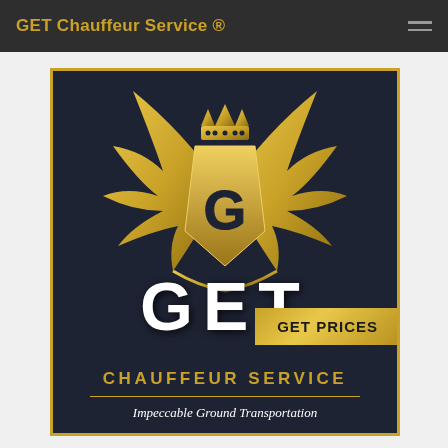GET Chauffeur Service ®
[Figure (logo): GET Chauffeur Service logo: dark navy background with gold border, large gold winged shield emblem with crown on top and letter G, below it white bold text GET, then gold text CHAUFFEUR SERVICE, italic white text Impeccable Ground Transportation, and a GET PRICES button in gold.]